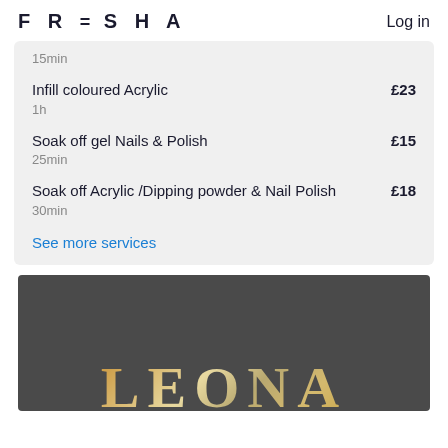FRESHA  Log in
15min
Infill coloured Acrylic  £23
1h
Soak off gel Nails & Polish  £15
25min
Soak off Acrylic /Dipping powder & Nail Polish  £18
30min
See more services
[Figure (photo): Dark grey background with gold/cream serif letters spelling 'LEONA' partially visible at the bottom of the image]